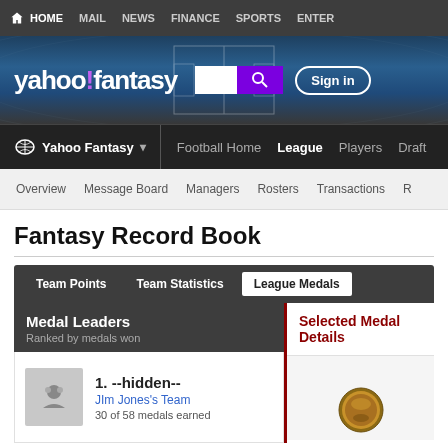HOME  MAIL  NEWS  FINANCE  SPORTS  ENTER
[Figure (logo): Yahoo Fantasy logo with purple search button and Sign in button on stadium background]
Yahoo Fantasy  Football Home  League  Players  Draft
Overview  Message Board  Managers  Rosters  Transactions  R
Fantasy Record Book
Team Points  Team Statistics  League Medals
Medal Leaders
Ranked by medals won
1. --hidden--
JIm Jones's Team
30 of 58 medals earned
Selected Medal Details